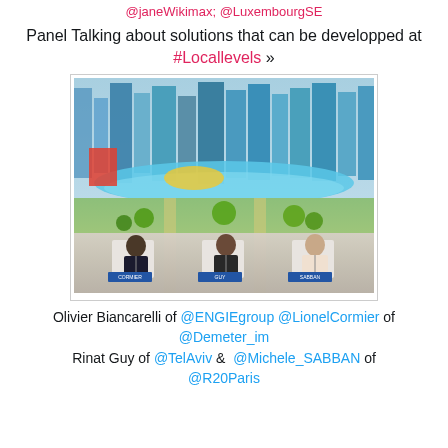@janeWikimax; @LuxembourgSE
Panel Talking about solutions that can be developped at #Locallevels »
[Figure (photo): Panel discussion photo showing three panelists seated in front of a projected image of a modern city skyline with green parks. Name placards visible: CORMIER, GUY, SABBAN.]
Olivier Biancarelli of @ENGIEgroup @LionelCormier of @Demeter_im
Rinat Guy of @TelAviv & @Michele_SABBAN of @R20Paris